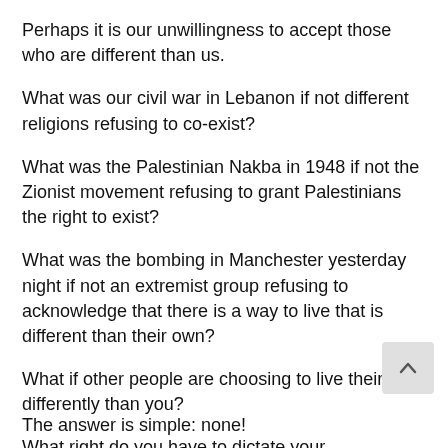Perhaps it is our unwillingness to accept those who are different than us.
What was our civil war in Lebanon if not different religions refusing to co-exist?
What was the Palestinian Nakba in 1948 if not the Zionist movement refusing to grant Palestinians the right to exist?
What was the bombing in Manchester yesterday night if not an extremist group refusing to acknowledge that there is a way to live that is different than their own?
What if other people are choosing to live their lives differently than you?
What right do you have to dictate your terms of living to others?
The answer is simple: none!